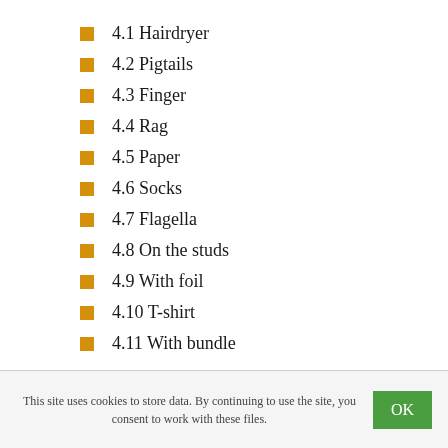4.1 Hairdryer
4.2 Pigtails
4.3 Finger
4.4 Rag
4.5 Paper
4.6 Socks
4.7 Flagella
4.8 On the studs
4.9 With foil
4.10 T-shirt
4.11 With bundle
This site uses cookies to store data. By continuing to use the site, you consent to work with these files. OK